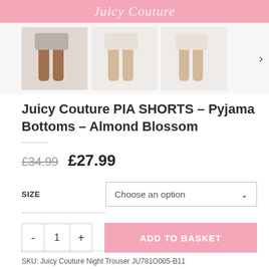Juicy Couture
[Figure (photo): Three thumbnail product photos showing model legs wearing pyjama shorts, arranged horizontally with a right-arrow navigation control]
Juicy Couture PIA SHORTS – Pyjama Bottoms – Almond Blossom
£34.99  £27.99
SIZE  Choose an option
- 1 +  ADD TO BASKET
SKU: Juicy Couture Night Trouser JU781O005-B11